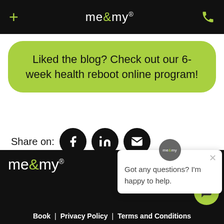+ me&my® [phone icon]
Liked the blog? Check out our 6-week health reboot online program!
Share on:
[Figure (infographic): Three black circular social media share buttons: Facebook (f), LinkedIn (in), Email (envelope icon)]
[Figure (screenshot): Chat popup with me&my avatar, close X button, and text: Got any questions? I'm happy to help.]
me&my® [social icons: Instagram, Facebook, Twitter, LinkedIn] Book | Privacy Policy | Terms and Conditions